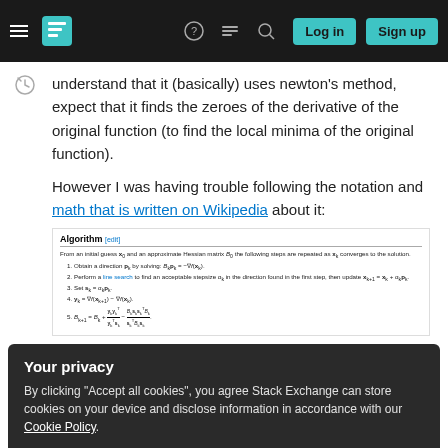Stack Exchange navigation bar with Log in and Sign up buttons
understand that it (basically) uses newton's method, expect that it finds the zeroes of the derivative of the original function (to find the local minima of the original function).
However I was having trouble following the notation and math that is written on Wikipedia about it:
[Figure (screenshot): Wikipedia screenshot showing the BFGS Algorithm section with steps: 1. Obtain a direction p_k by solving B_k p_k = -∇f(x_k). 2. Perform a line search to find an acceptable stepsize α_k in the direction found in the first step, then update x_{k+1} = x_k + α_k p_k. 3. Set s_k = α_k p_k. 4. y_k = ∇f(x_{k+1}) - ∇f(x_k). 5. B_{k+1} = B_k + y_k y_k^T / y_k^T s_k - B_k s_k s_k^T B_k / s_k^T B_k s_k.]
Your privacy
By clicking "Accept all cookies", you agree Stack Exchange can store cookies on your device and disclose information in accordance with our Cookie Policy.
the derivative is a local maximum or minimum of f(x)